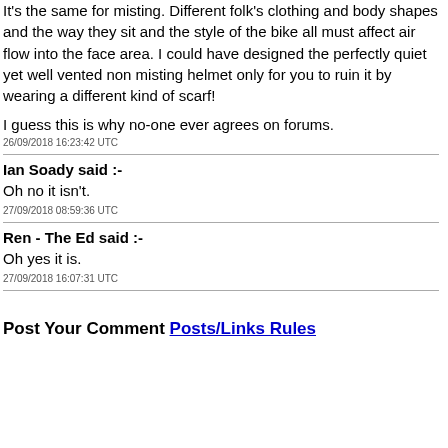It's the same for misting. Different folk's clothing and body shapes and the way they sit and the style of the bike all must affect air flow into the face area. I could have designed the perfectly quiet yet well vented non misting helmet only for you to ruin it by wearing a different kind of scarf!
I guess this is why no-one ever agrees on forums.
26/09/2018 16:23:42 UTC
Ian Soady said :-
Oh no it isn't.
27/09/2018 08:59:36 UTC
Ren - The Ed said :-
Oh yes it is.
27/09/2018 16:07:31 UTC
Post Your Comment Posts/Links Rules